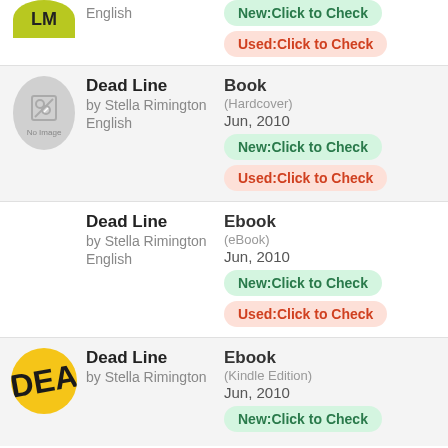[Figure (photo): Partial book cover thumbnail (top of page, clipped)]
English
New:Click to Check
Used:Click to Check
Dead Line
by Stella Rimington
English
Book
(Hardcover)
Jun, 2010
New:Click to Check
Used:Click to Check
Dead Line
by Stella Rimington
English
Ebook
(eBook)
Jun, 2010
New:Click to Check
Used:Click to Check
Dead Line
by Stella Rimington
Ebook
(Kindle Edition)
Jun, 2010
New:Click to Check